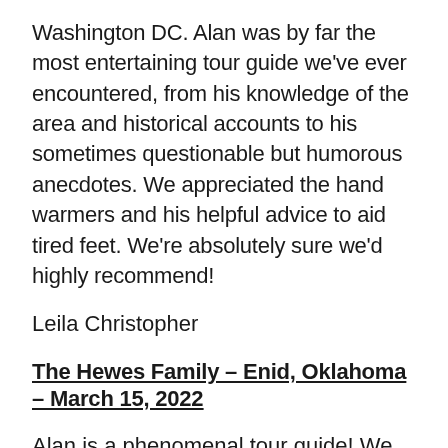Washington DC. Alan was by far the most entertaining tour guide we've ever encountered, from his knowledge of the area and historical accounts to his sometimes questionable but humorous anecdotes.  We appreciated the hand warmers and his helpful advice to aid tired feet.  We're absolutely sure we'd highly recommend!
Leila Christopher
The Hewes Family – Enid, Oklahoma – March 15, 2022
Alan is a phenomenal tour guide! We learned